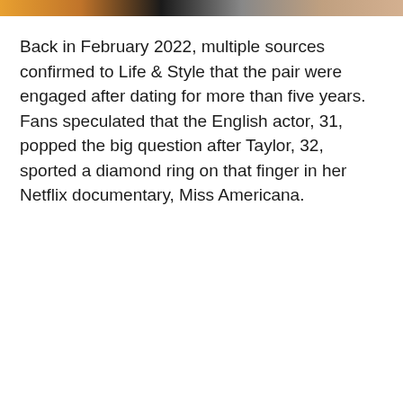[Figure (photo): A partial strip of a photo showing colorful imagery at the top of the page]
Back in February 2022, multiple sources confirmed to Life & Style that the pair were engaged after dating for more than five years. Fans speculated that the English actor, 31, popped the big question after Taylor, 32, sported a diamond ring on that finger in her Netflix documentary, Miss Americana.